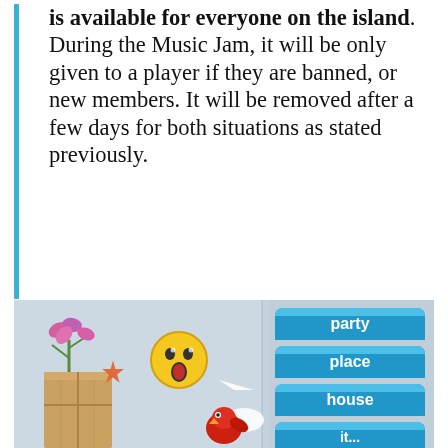is available for everyone on the island. During the Music Jam, it will be only given to a player if they are banned, or new members. It will be removed after a few days for both situations as stated previously.
-stu, Club Penguin Rewritten administrator
The changes are part of an overhaul to the filter system on Club Penguin Rewritten. Eventually, it is expected that something like this will be added to the game, similar to the method employed on the classic version of the game.
[Figure (screenshot): Club Penguin Rewritten game screenshot showing a penguin character near a box with a plant, an emoji speech bubble, and a menu with blue buttons labeled 'party', 'place', 'house', and a partially visible fourth option.]